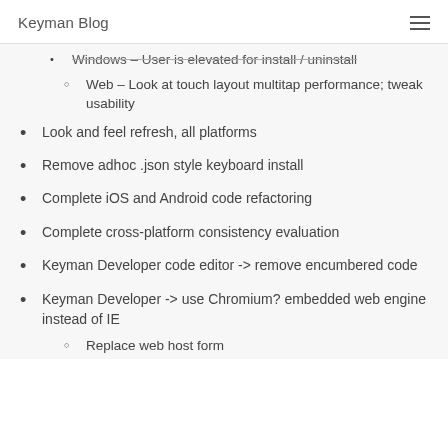Keyman Blog
Windows – User is elevated for install / uninstall
Web – Look at touch layout multitap performance; tweak usability
Look and feel refresh, all platforms
Remove adhoc .json style keyboard install
Complete iOS and Android code refactoring
Complete cross-platform consistency evaluation
Keyman Developer code editor -> remove encumbered code
Keyman Developer -> use Chromium? embedded web engine instead of IE
Replace web host form